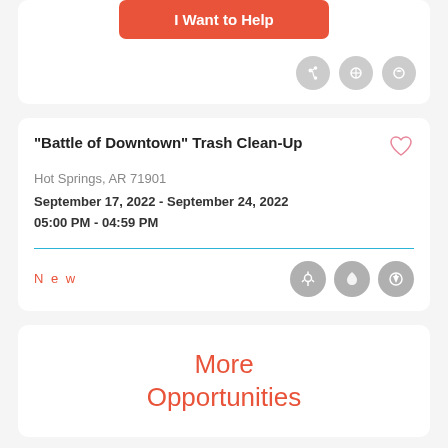I Want to Help
"Battle of Downtown" Trash Clean-Up
Hot Springs, AR 71901
September 17, 2022 - September 24, 2022
05:00 PM - 04:59 PM
New
More Opportunities